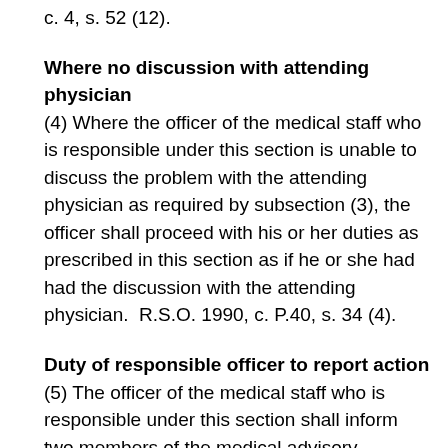c. 4, s. 52 (12).
Where no discussion with attending physician
(4) Where the officer of the medical staff who is responsible under this section is unable to discuss the problem with the attending physician as required by subsection (3), the officer shall proceed with his or her duties as prescribed in this section as if he or she had had the discussion with the attending physician.  R.S.O. 1990, c. P.40, s. 34 (4).
Duty of responsible officer to report action
(5) The officer of the medical staff who is responsible under this section shall inform two members of the medical advisory committee within twenty-four hours of his or her action under